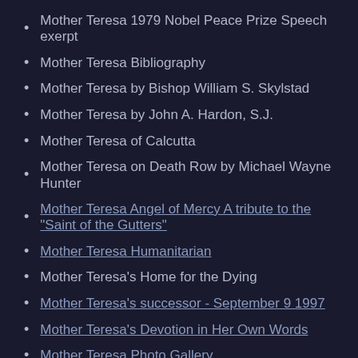Mother Teresa 1979 Nobel Peace Prize Speech exerpt
Mother Teresa Bibliography
Mother Teresa by Bishop William S. Skylstad
Mother Teresa by John A. Hardon, S.J.
Mother Teresa of Calcutta
Mother Teresa on Death Row by Michael Wayne Hunter
Mother Teresa Angel of Mercy A tribute to the "Saint of the Gutters"
Mother Teresa Humanitarian
Mother Teresa's Home for the Dying
Mother Teresa's successor - September 9 1997
Mother Teresa's Devotion in Her Own Words
Mother Teresa Photo Gallery
Mother Teresa 1910-1997
Mother Teresa 1910-1997
Mother Teresa 1910-1997
Mother Teresa 1910-1997